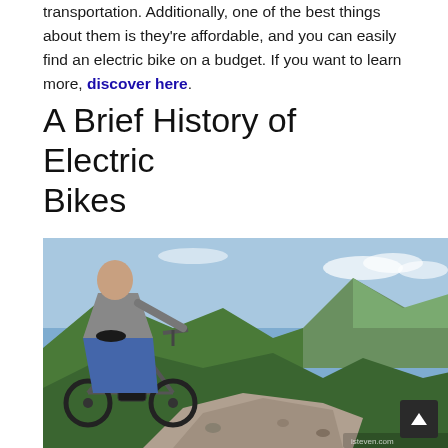transportation. Additionally, one of the best things about them is they're affordable, and you can easily find an electric bike on a budget. If you want to learn more, discover here.
A Brief History of Electric Bikes
[Figure (photo): Person riding an electric mountain bike on a mountain trail path with green hills and blue sky in the background. A scroll-to-top button is visible in the bottom right corner.]